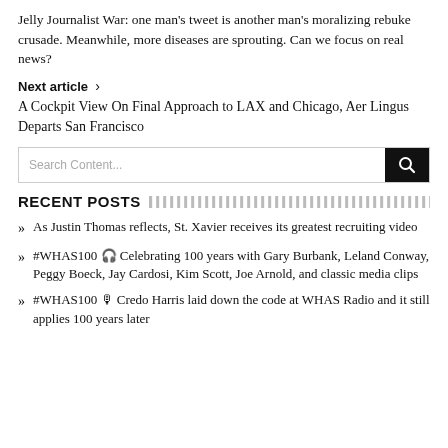Jelly Journalist War: one man's tweet is another man's moralizing rebuke crusade. Meanwhile, more diseases are sprouting. Can we focus on real news?
Next article >
A Cockpit View On Final Approach to LAX and Chicago, Aer Lingus Departs San Francisco
RECENT POSTS
As Justin Thomas reflects, St. Xavier receives its greatest recruiting video
#WHAS100 🎧 Celebrating 100 years with Gary Burbank, Leland Conway, Peggy Boeck, Jay Cardosi, Kim Scott, Joe Arnold, and classic media clips
#WHAS100 🎙 Credo Harris laid down the code at WHAS Radio and it still applies 100 years later